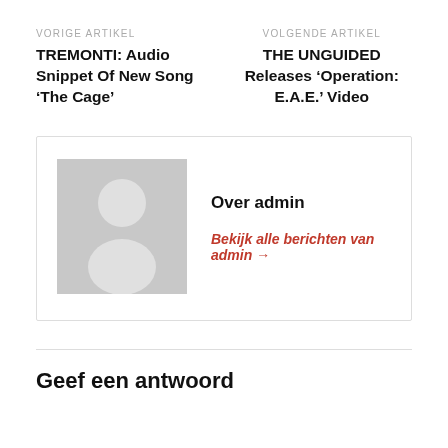VORIGE ARTIKEL
VOLGENDE ARTIKEL
TREMONTI: Audio Snippet Of New Song ‘The Cage’
THE UNGUIDED Releases ‘Operation: E.A.E.’ Video
[Figure (illustration): Generic user avatar: grey silhouette of a person on a grey background]
Over admin
Bekijk alle berichten van admin →
Geef een antwoord